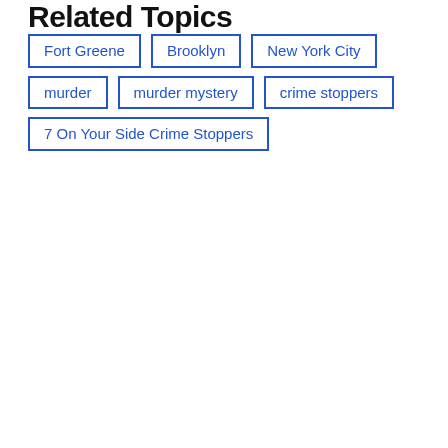Related Topics
Fort Greene
Brooklyn
New York City
murder
murder mystery
crime stoppers
7 On Your Side Crime Stoppers